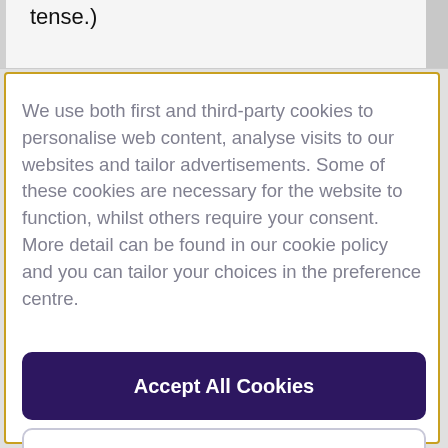tense.)
We use both first and third-party cookies to personalise web content, analyse visits to our websites and tailor advertisements. Some of these cookies are necessary for the website to function, whilst others require your consent. More detail can be found in our cookie policy and you can tailor your choices in the preference centre.
Accept All Cookies
Cookies Settings